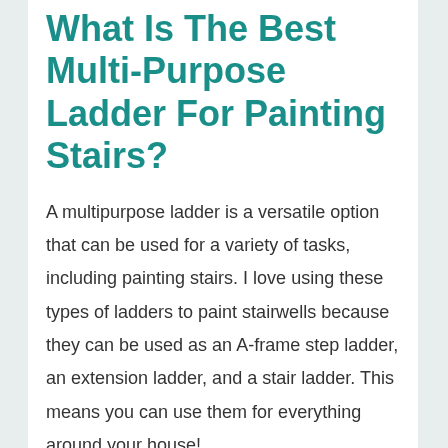What Is The Best Multi-Purpose Ladder For Painting Stairs?
A multipurpose ladder is a versatile option that can be used for a variety of tasks, including painting stairs. I love using these types of ladders to paint stairwells because they can be used as an A-frame step ladder, an extension ladder, and a stair ladder. This means you can use them for everything around your house!
Multipurpose ladders also have a large weight capacity and are great to...